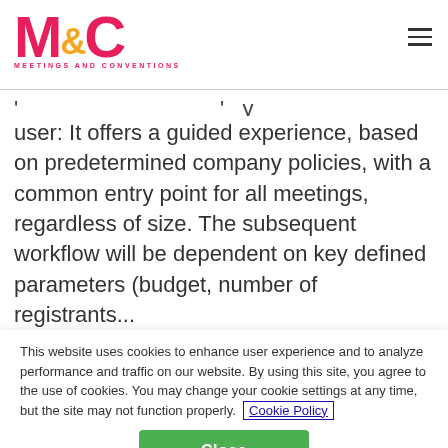M&C MEETINGS AND CONVENTIONS
user: It offers a guided experience, based on predetermined company policies, with a common entry point for all meetings, regardless of size. The subsequent workflow will be dependent on key defined parameters (budget, number of registrants...
This website uses cookies to enhance user experience and to analyze performance and traffic on our website. By using this site, you agree to the use of cookies. You may change your cookie settings at any time, but the site may not function properly. Cookie Policy
Close